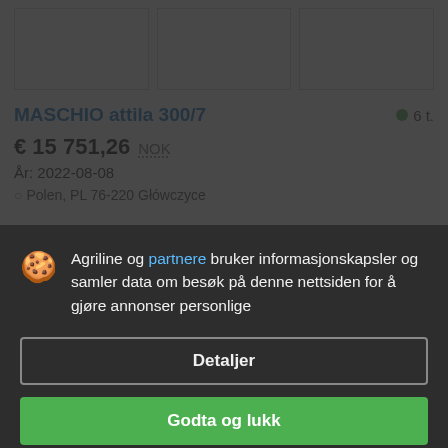[Figure (photo): Three image placeholders in a row (product images for MASCHIO attila 300/7)]
MASCHIO attila 300/7
6 t.
€ 15 751,26 NOK
År: 2022-08-08
Polen, PL 76-220 Główczyce
Agriline og partnere bruker informasjonskapsler og samler data om besøk på denne nettsiden for å gjøre annonser personlige
Detaljer
Godta og lukk